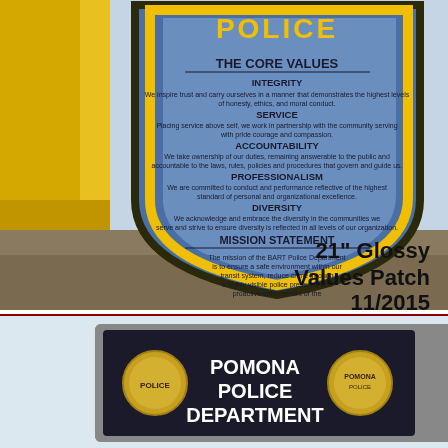[Figure (photo): Photo of a large 21-inch glossy police values patch held by a person in a yellow shirt. The patch shows a BART Police badge shape with text listing: THE CORE VALUES, INTEGRITY, SERVICE, ACCOUNTABILITY, PROFESSIONALISM, DIVERSITY, and MISSION STATEMENT with full text. Text overlay reads '21" Glossy Values Patch 11/2015'.]
[Figure (photo): Photo of a framed Pomona Police Department plaque with dark background, showing the text 'POMONA POLICE DEPARTMENT' and two circular police badge logos on either side.]